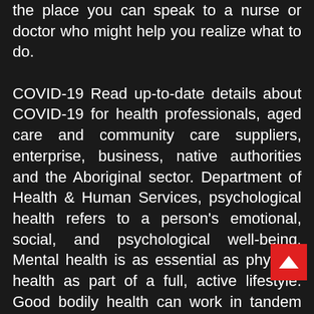the place you can speak to a nurse or doctor who might help you realize what to do.

COVID-19 Read up-to-date details about COVID-19 for health professionals, aged care and community care suppliers, enterprise, business, native authorities and the Aboriginal sector. Department of Health & Human Services, psychological health refers to a person's emotional, social, and psychological well-being. Mental health is as essential as physical health as part of a full, active lifestyle. Good bodily health can work in tandem with mental health to enhance a person's general high quality of life. In addition to safety dangers, many roles additionally present risks of illness, illness and different long-term health problems. Among the most typical occupational diseases are various fo of pneumoconiosis, including silicosis and employee's pneumoconiosis .
[Figure (other): Red back-to-top button with upward chevron arrow]